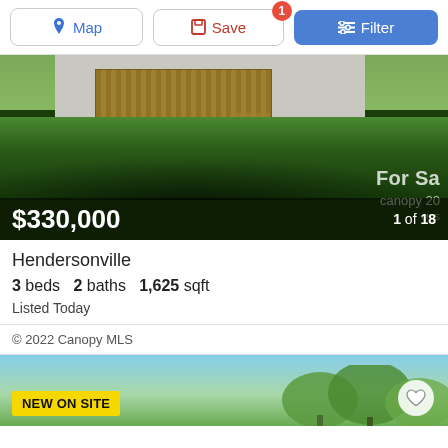[Figure (screenshot): Navigation bar with Map, Save (badge: 1), and Filter buttons]
[Figure (photo): Exterior photo of a house with a large green lawn and wooden deck. Watermarks: 'For Sa...' and 'canopy 20...' Price overlay: $330,000, 1 of 18 photos]
Hendersonville
3 beds  2 baths  1,625 sqft
Listed Today
© 2022 Canopy MLS
[Figure (photo): Second listing photo partially visible at bottom. Sky and trees. Badge: NEW ON SITE. Heart icon.]